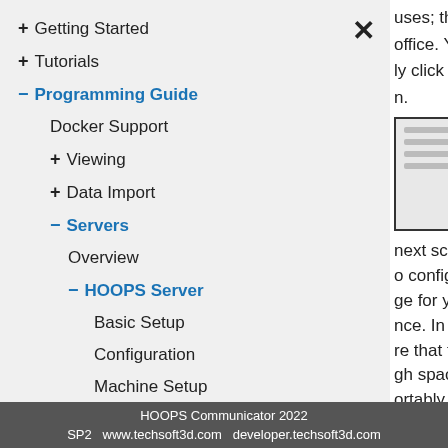+ Getting Started
+ Tutorials
– Programming Guide
Docker Support
+ Viewing
+ Data Import
– Servers
Overview
– HOOPS Server
Basic Setup
Configuration
Machine Setup
Advanced Setup
Deployment Scenarios
Monitoring and Troubleshooting
Amazon EC2 Quick Start
uses; the defaults
office. You can
ly click next on this
n.
[Figure (screenshot): Screenshot thumbnail showing a configuration dialog window with several horizontal lines of text/form fields]
next screen allows o configure ge for your new nce. In order to re that there is gh space to ortably install nunicator and any models you may
HOOPS Communicator 2022 SP2   www.techsoft3d.com   developer.techsoft3d.com